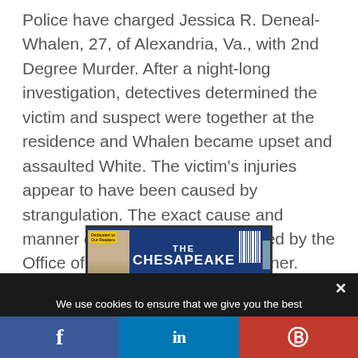Police have charged Jessica R. Deneal-Whalen, 27, of Alexandria, Va., with 2nd Degree Murder. After a night-long investigation, detectives determined the victim and suspect were together at the residence and Whalen became upset and assaulted White. The victim's injuries appear to have been caused by strangulation. The exact cause and manner of death will be determined by the Office of the Chief Medical Examiner.
[Figure (other): Partial magazine cover for 'The Chesapeake' with a yellow sticker reading 'Dedicated to Our Readers', a face visible on the left, and a ship image on the right with a barcode.]
We use cookies to ensure that we give you the best experience on our website. If you continue to use this site we will assume that you are happy with it. This website is not intended for those who live in the European Economic Area.
[Figure (other): Social sharing bar with Facebook (f), LinkedIn (in), and Parler (P) icons on blue, dark blue, and red backgrounds respectively.]